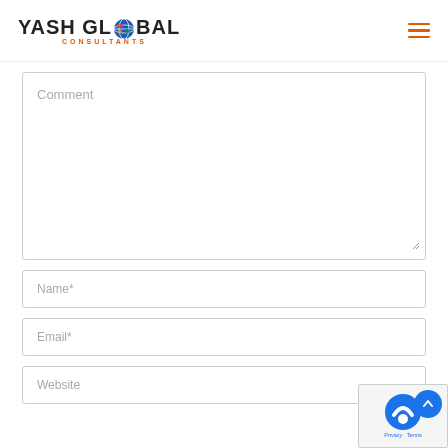YASH GLOBAL CONSULTANTS
Comment
Name*
Email*
Website